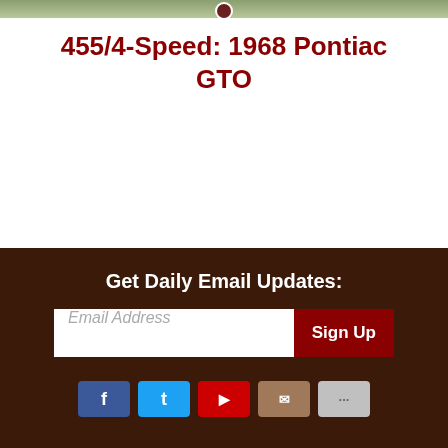[Figure (photo): Top strip showing partial image of a classic car or outdoor scene with a small circular logo/icon]
455/4-Speed: 1968 Pontiac GTO
Get Daily Email Updates:
Email Address
Sign Up
[Figure (other): Social media buttons: Facebook, Twitter, YouTube, Email, and More]